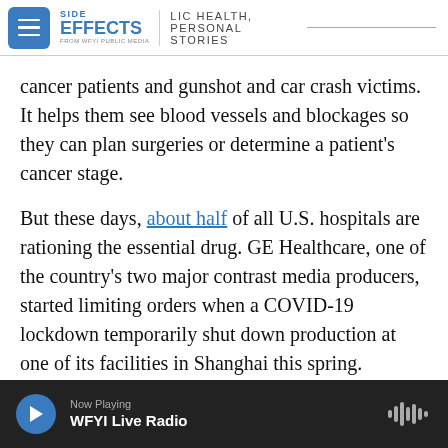SIDE EFFECTS — PUBLIC HEALTH, PERSONAL STORIES — FROM WFYI PUBLIC MEDIA
cancer patients and gunshot and car crash victims. It helps them see blood vessels and blockages so they can plan surgeries or determine a patient’s cancer stage.
But these days, about half of all U.S. hospitals are rationing the essential drug. GE Healthcare, one of the country’s two major contrast media producers, started limiting orders when a COVID-19 lockdown temporarily shut down production at one of its facilities in Shanghai this spring.
Contrast media is the latest example that the U.S.
Now Playing — WFYI Live Radio